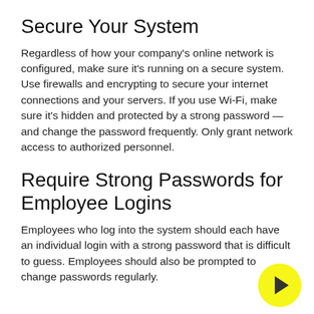keep your data and online activities safe in an age of ongoing cybersecurity threats.
Secure Your System
Regardless of how your company’s online network is configured, make sure it’s running on a secure system. Use firewalls and encrypting to secure your internet connections and your servers. If you use Wi-Fi, make sure it’s hidden and protected by a strong password — and change the password frequently. Only grant network access to authorized personnel.
Require Strong Passwords for Employee Logins
Employees who log into the system should each have an individual login with a strong password that is difficult to guess. Employees should also be prompted to change passwords regularly.